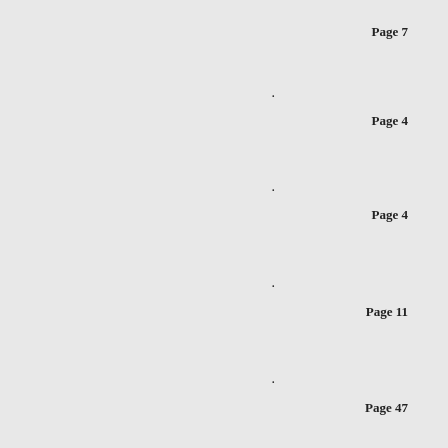Page 7
.
Page 4
.
Page 4
.
Page 11
.
Page 47